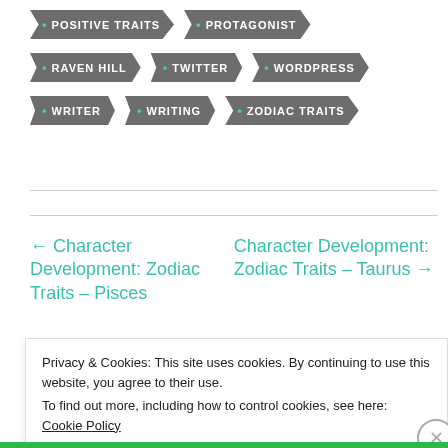• POSITIVE TRAITS
• PROTAGONIST
• RAVEN HILL
• TWITTER
• WORDPRESS
• WRITER
• WRITING
• ZODIAC TRAITS
← Character Development: Zodiac Traits – Pisces
Character Development: Zodiac Traits – Taurus →
Privacy & Cookies: This site uses cookies. By continuing to use this website, you agree to their use.
To find out more, including how to control cookies, see here: Cookie Policy
Close and accept